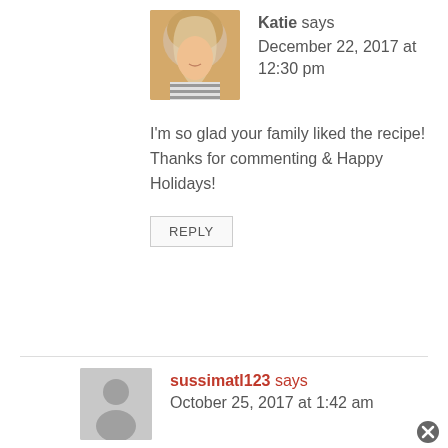[Figure (photo): Profile photo of Katie, a young woman with long blonde/light hair wearing a striped top]
Katie says
December 22, 2017 at 12:30 pm
I'm so glad your family liked the recipe! Thanks for commenting & Happy Holidays!
REPLY
[Figure (illustration): Generic grey silhouette avatar placeholder for unknown user]
sussimatl123 says
October 25, 2017 at 1:42 am